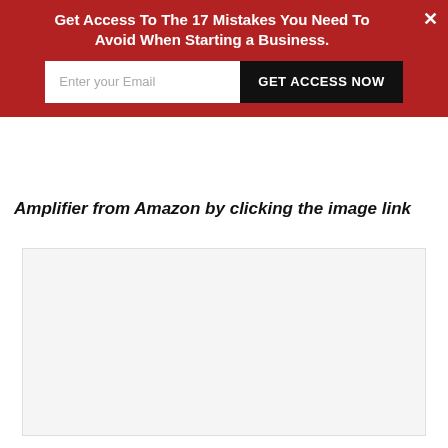Get Access To The 17 Mistakes You Need To Avoid When Starting a Business.
Amplifier from Amazon by clicking the image link
[Figure (other): Blank light gray image placeholder area below the text]